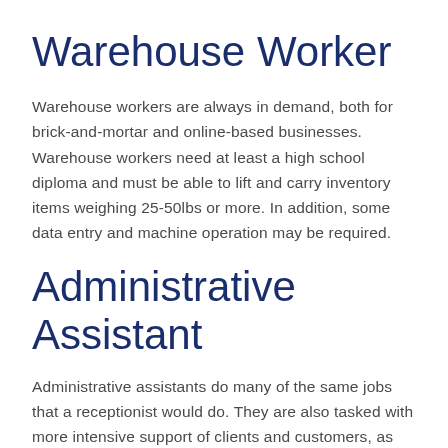Warehouse Worker
Warehouse workers are always in demand, both for brick-and-mortar and online-based businesses. Warehouse workers need at least a high school diploma and must be able to lift and carry inventory items weighing 25-50lbs or more. In addition, some data entry and machine operation may be required.
Administrative Assistant
Administrative assistants do many of the same jobs that a receptionist would do. They are also tasked with more intensive support of clients and customers, as well as